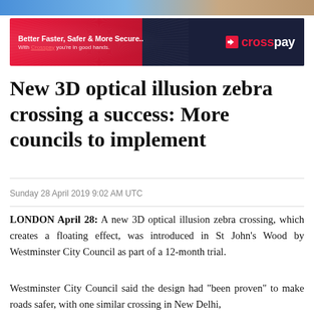[Figure (photo): Top image strip showing partial scene]
[Figure (infographic): CrossPay advertisement banner with red and dark navy background. Text: Better Faster, Safer & More Secure.. With Crosspay you're in good hands. CrossPay logo with arrow icon on right.]
New 3D optical illusion zebra crossing a success: More councils to implement
Sunday 28 April 2019 9:02 AM UTC
LONDON April 28: A new 3D optical illusion zebra crossing, which creates a floating effect, was introduced in St John’s Wood by Westminster City Council as part of a 12-month trial.
Westminster City Council said the design had “been proven” to make roads safer, with one similar crossing in New Delhi,